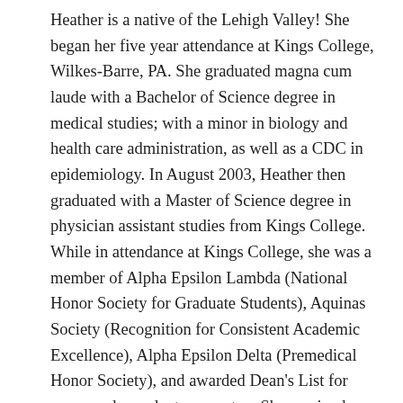Heather is a native of the Lehigh Valley! She began her five year attendance at Kings College, Wilkes-Barre, PA. She graduated magna cum laude with a Bachelor of Science degree in medical studies; with a minor in biology and health care administration, as well as a CDC in epidemiology. In August 2003, Heather then graduated with a Master of Science degree in physician assistant studies from Kings College. While in attendance at Kings College, she was a member of Alpha Epsilon Lambda (National Honor Society for Graduate Students), Aquinas Society (Recognition for Consistent Academic Excellence), Alpha Epsilon Delta (Premedical Honor Society), and awarded Dean's List for every undergraduate semester. She received certificates for completion of Kings College Honors Program, and recognition for Exceptional Scholarly Achievement.
Heather is a former Vice President of the American